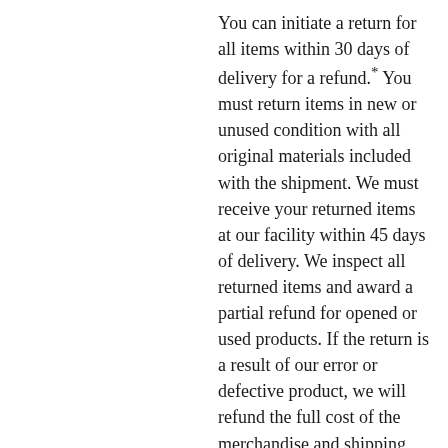You can initiate a return for all items within 30 days of delivery for a refund.* You must return items in new or unused condition with all original materials included with the shipment. We must receive your returned items at our facility within 45 days of delivery. We inspect all returned items and award a partial refund for opened or used products. If the return is a result of our error or defective product, we will refund the full cost of the merchandise and shipping charges.
If you initiate a return after 30 days, we may issue a partial refund* depending on elapsed time and condition of merchandise.